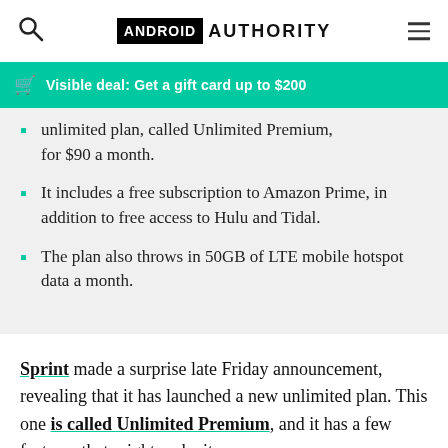Android Authority
Visible deal: Get a gift card up to $200
unlimited plan, called Unlimited Premium, for $90 a month.
It includes a free subscription to Amazon Prime, in addition to free access to Hulu and Tidal.
The plan also throws in 50GB of LTE mobile hotspot data a month.
Sprint made a surprise late Friday announcement, revealing that it has launched a new unlimited plan. This one is called Unlimited Premium, and it has a few features that might make it very